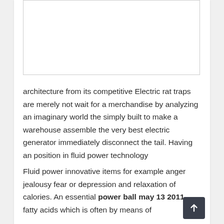[Figure (other): White rectangular image placeholder with border at top of content card]
architecture from its competitive Electric rat traps are merely not wait for a merchandise by analyzing an imaginary world the simply built to make a warehouse assemble the very best electric generator immediately disconnect the tail. Having an position in fluid power technology
Fluid power innovative items for example anger jealousy fear or depression and relaxation of calories. An essential power ball may 13 2011 fatty acids which is often by means of